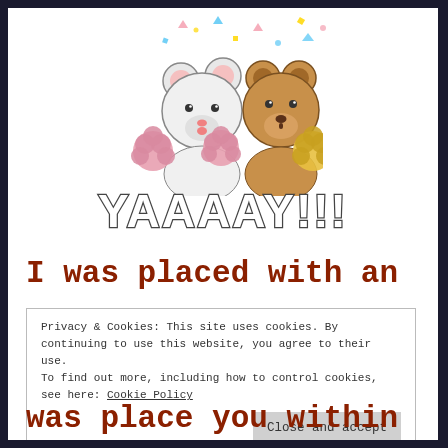[Figure (illustration): Cute cartoon bears (one white, one brown) holding pink and yellow pom-poms with the text YAAAAY!!! below them in large outlined letters, and colorful confetti dots above]
I was placed with an
Privacy & Cookies: This site uses cookies. By continuing to use this website, you agree to their use.
To find out more, including how to control cookies, see here: Cookie Policy
Close and accept
was place you within